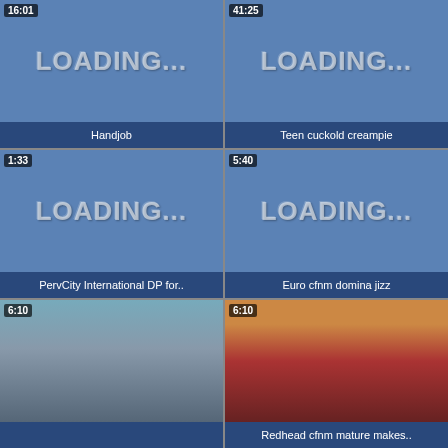[Figure (screenshot): Video thumbnail showing LOADING... placeholder with blue background, duration 16:01, title Handjob]
[Figure (screenshot): Video thumbnail showing LOADING... placeholder with blue background, duration 41:25, title Teen cuckold creampie]
[Figure (screenshot): Video thumbnail showing LOADING... placeholder with blue background, duration 1:33, title PervCity International DP for..]
[Figure (screenshot): Video thumbnail showing LOADING... placeholder with blue background, duration 5:40, title Euro cfnm domina jizz]
[Figure (photo): Video thumbnail showing group of people, duration 6:10, title partially visible]
[Figure (photo): Video thumbnail showing women at table with red background, duration 6:10, title Redhead cfnm mature makes..]